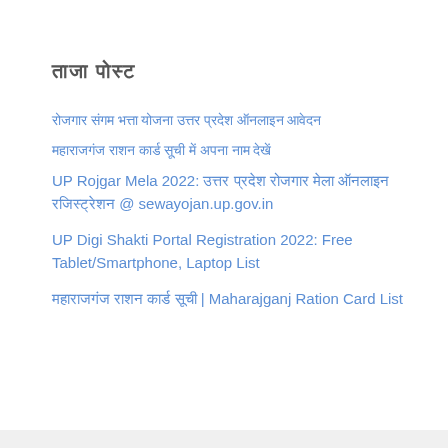ताजा पोस्ट
रोजगार संगम भत्ता योजना उत्तर प्रदेश ऑनलाइन आवेदन
महाराजगंज राशन कार्ड सूची में अपना नाम देखें
UP Rojgar Mela 2022: उत्तर प्रदेश रोजगार मेला ऑनलाइन रजिस्ट्रेशन @ sewayojan.up.gov.in
UP Digi Shakti Portal Registration 2022: Free Tablet/Smartphone, Laptop List
महाराजगंज राशन कार्ड सूची | Maharajganj Ration Card List